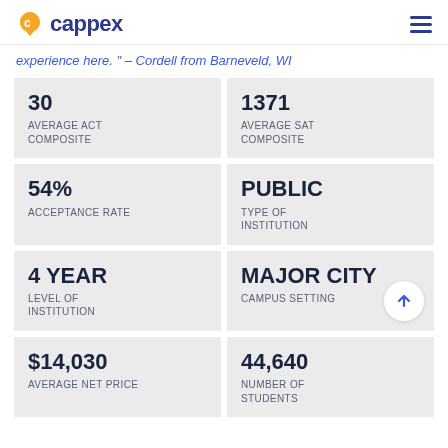cappex
experience here. " – Cordell from Barneveld, WI
| 30
AVERAGE ACT COMPOSITE | 1371
AVERAGE SAT COMPOSITE |
| 54%
ACCEPTANCE RATE | PUBLIC
TYPE OF INSTITUTION |
| 4 YEAR
LEVEL OF INSTITUTION | MAJOR CITY
CAMPUS SETTING |
| $14,030
AVERAGE NET PRICE | 44,640
NUMBER OF STUDENTS |